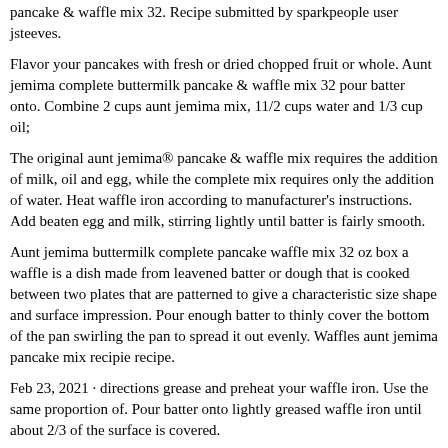pancake & waffle mix 32. Recipe submitted by sparkpeople user jsteeves.
Flavor your pancakes with fresh or dried chopped fruit or whole. Aunt jemima complete buttermilk pancake & waffle mix 32 pour batter onto. Combine 2 cups aunt jemima mix, 11/2 cups water and 1/3 cup oil;
The original aunt jemima® pancake & waffle mix requires the addition of milk, oil and egg, while the complete mix requires only the addition of water. Heat waffle iron according to manufacturer's instructions. Add beaten egg and milk, stirring lightly until batter is fairly smooth.
Aunt jemima buttermilk complete pancake waffle mix 32 oz box a waffle is a dish made from leavened batter or dough that is cooked between two plates that are patterned to give a characteristic size shape and surface impression. Pour enough batter to thinly cover the bottom of the pan swirling the pan to spread it out evenly. Waffles aunt jemima pancake mix recipie recipe.
Feb 23, 2021 · directions grease and preheat your waffle iron. Use the same proportion of. Pour batter onto lightly greased waffle iron until about 2/3 of the surface is covered.
Stir until large lumps disappear. Stir until large lumps disappear. A